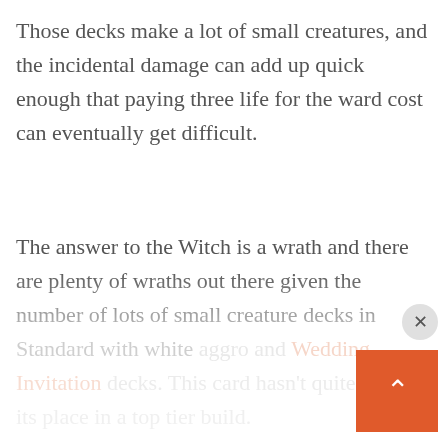Those decks make a lot of small creatures, and the incidental damage can add up quick enough that paying three life for the ward cost can eventually get difficult.
The answer to the Witch is a wrath and there are plenty of wraths out there given the number of lots of small creature decks in Standard with white aggro and Wedding Invitation decks. This card hasn't quite found its place in a top tier build.